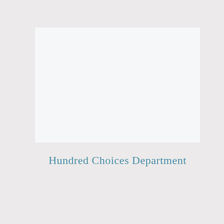[Figure (other): A light gray-white rectangular box occupying the upper portion of the page, serving as a decorative or placeholder image area.]
Hundred Choices Department